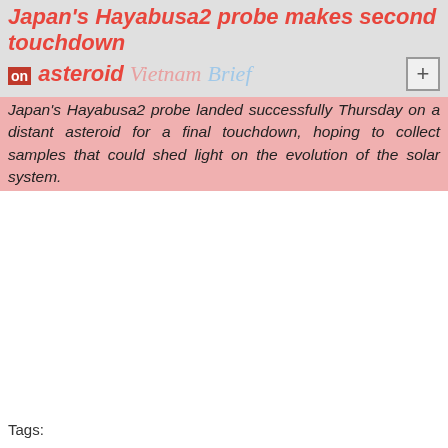Japan's Hayabusa2 probe makes second touchdown on asteroid   Vietnam Brief
Japan's Hayabusa2 probe landed successfully Thursday on a distant asteroid for a final touchdown, hoping to collect samples that could shed light on the evolution of the solar system.
Tags: